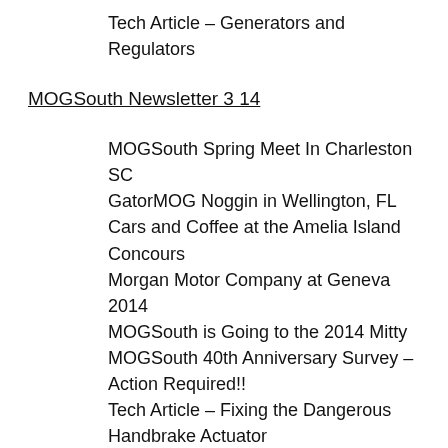Tech Article – Generators and Regulators
MOGSouth Newsletter 3 14
MOGSouth Spring Meet In Charleston SC
GatorMOG Noggin in Wellington, FL
Cars and Coffee at the Amelia Island Concours
Morgan Motor Company at Geneva 2014
MOGSouth is Going to the 2014 Mitty
MOGSouth 40th Anniversary Survey – Action Required!!
Tech Article – Fixing the Dangerous Handbrake Actuator
Tech Article – Truing and Balancing Your Wheels
MOGSouth Newsletter 3 14